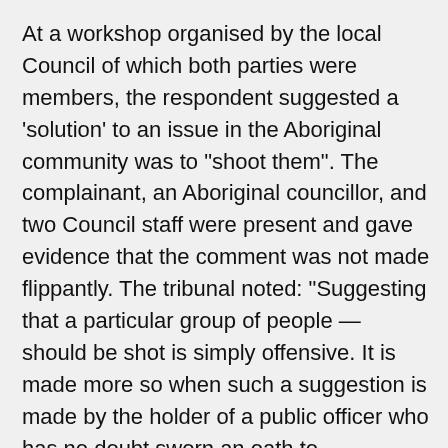At a workshop organised by the local Council of which both parties were members, the respondent suggested a 'solution' to an issue in the Aboriginal community was to "shoot them". The complainant, an Aboriginal councillor, and two Council staff were present and gave evidence that the comment was not made flippantly. The tribunal noted: "Suggesting that a particular group of people … should be shot is simply offensive. It is made more so when such a suggestion is made by the holder of a public officer who has no doubt sworn an oath to appropriately serve all of the people in the area which they represent [including the